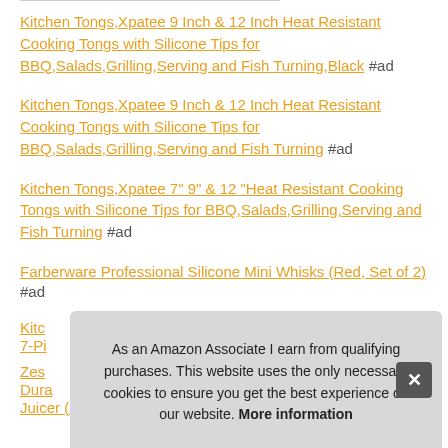Kitchen Tongs,Xpatee 9 Inch & 12 Inch Heat Resistant Cooking Tongs with Silicone Tips for BBQ,Salads,Grilling,Serving and Fish Turning,Black #ad
Kitchen Tongs,Xpatee 9 Inch & 12 Inch Heat Resistant Cooking Tongs with Silicone Tips for BBQ,Salads,Grilling,Serving and Fish Turning #ad
Kitchen Tongs,Xpatee 7" 9" & 12 "Heat Resistant Cooking Tongs with Silicone Tips for BBQ,Salads,Grilling,Serving and Fish Turning #ad
Farberware Professional Silicone Mini Whisks (Red, Set of 2) #ad
Kitc... 7-Pi...
Zes... Dura... Juicer (An Additional Zester Included) #ad
As an Amazon Associate I earn from qualifying purchases. This website uses the only necessary cookies to ensure you get the best experience on our website. More information